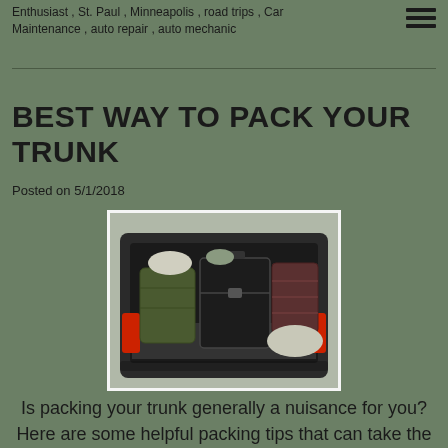Enthusiast , St. Paul , Minneapolis , road trips , Car Maintenance , auto repair , auto mechanic
BEST WAY TO PACK YOUR TRUNK
Posted on 5/1/2018
[Figure (photo): A car trunk open and packed with multiple suitcases and bags]
Is packing your trunk generally a nuisance for you? Here are some helpful packing tips that can take the complexity and challenges out of getting all you